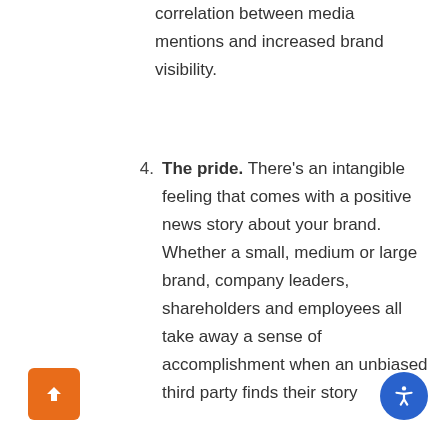correlation between media mentions and increased brand visibility.
4. The pride. There's an intangible feeling that comes with a positive news story about your brand. Whether a small, medium or large brand, company leaders, shareholders and employees all take away a sense of accomplishment when an unbiased third party finds their story